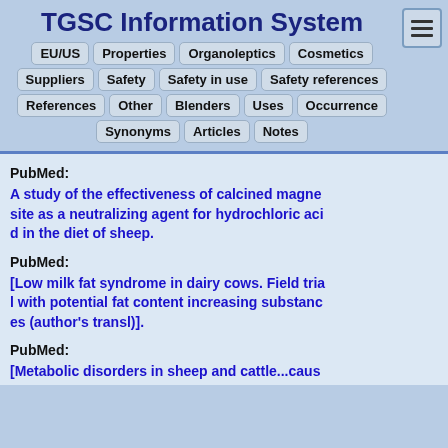TGSC Information System
EU/US  Properties  Organoleptics  Cosmetics
Suppliers  Safety  Safety in use  Safety references
References  Other  Blenders  Uses  Occurrence
Synonyms  Articles  Notes
PubMed:
A study of the effectiveness of calcined magnesite as a neutralizing agent for hydrochloric acid in the diet of sheep.
PubMed:
[Low milk fat syndrome in dairy cows. Field trial with potential fat content increasing substances (author's transl)].
PubMed:
[Metabolic disorders in sheep and cattle...